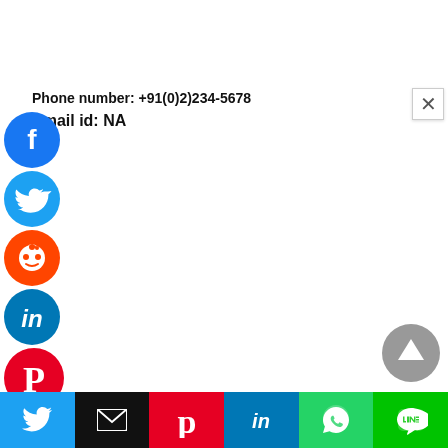Phone number: +91(0)2)234-5678
Email id: NA
[Figure (screenshot): Social media sharing icons column on the left: Facebook (blue), Twitter (light blue), Reddit (orange), LinkedIn (dark blue), Pinterest (red), MeWe (teal/green), and a partially visible orange icon at bottom. A close (X) button top-right. A grey scroll-to-top arrow button bottom-right. Bottom bar with share buttons: Twitter (blue), Email (black), Pinterest (red), LinkedIn (blue), WhatsApp (green), LINE (green).]